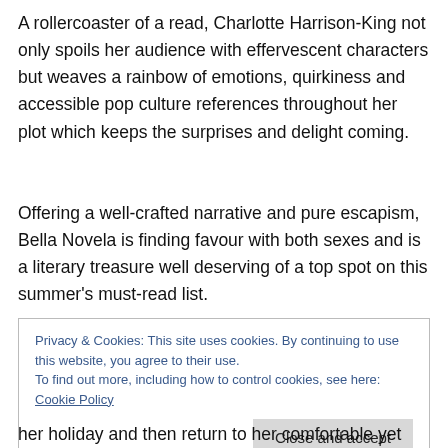A rollercoaster of a read, Charlotte Harrison-King not only spoils her audience with effervescent characters but weaves a rainbow of emotions, quirkiness and accessible pop culture references throughout her plot which keeps the surprises and delight coming.
Offering a well-crafted narrative and pure escapism, Bella Novela is finding favour with both sexes and is a literary treasure well deserving of a top spot on this summer's must-read list.
Privacy & Cookies: This site uses cookies. By continuing to use this website, you agree to their use.
To find out more, including how to control cookies, see here: Cookie Policy
Close and accept
her holiday and then return to her comfortable yet